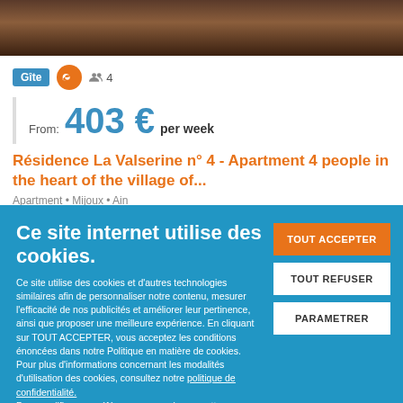[Figure (photo): Partial view of decorative bedding or textile in dark red/brown tones]
Gîte  🔑  👥 4
From: 403 € per week
Résidence La Valserine n° 4 - Apartment 4 people in the heart of the village of...
Apartment • Mijoux • Ain
Ce site internet utilise des cookies.
Ce site utilise des cookies et d'autres technologies similaires afin de personnaliser notre contenu, mesurer l'efficacité de nos publicités et améliorer leur pertinence, ainsi que proposer une meilleure expérience. En cliquant sur TOUT ACCEPTER, vous acceptez les conditions énoncées dans notre Politique en matière de cookies.
Pour plus d'informations concernant les modalités d'utilisation des cookies, consultez notre politique de confidentialité.
Pour modifier vos préférences, vous devez mettre paramétrer vos préférences de cookies.
TOUT ACCEPTER
TOUT REFUSER
PARAMETRER